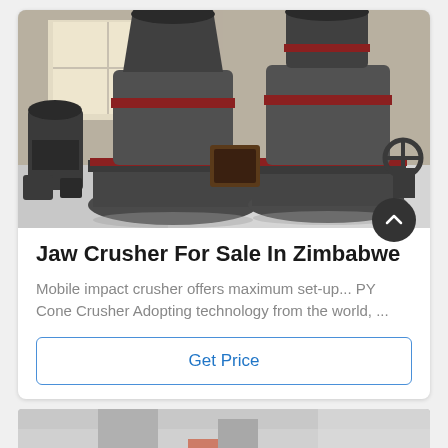[Figure (photo): Industrial cone crusher machinery in a factory/warehouse setting. Large grey cylindrical cone crusher units with red accent bands are visible, along with industrial equipment and a bright background from windows.]
Jaw Crusher For Sale In Zimbabwe
Mobile impact crusher offers maximum set-up... PY Cone Crusher Adopting technology from the world, ...
[Figure (photo): Partial view of machinery at the bottom of the page (cropped).]